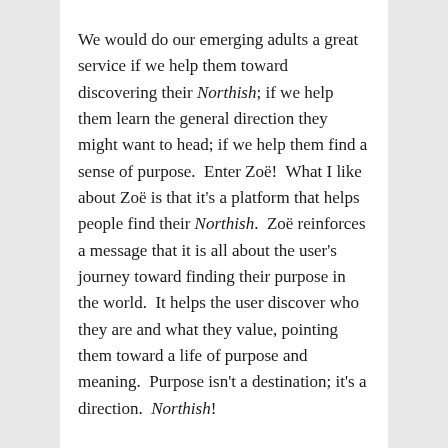We would do our emerging adults a great service if we help them toward discovering their Northish; if we help them learn the general direction they might want to head; if we help them find a sense of purpose.  Enter Zoë!  What I like about Zoë is that it's a platform that helps people find their Northish.  Zoë reinforces a message that it is all about the user's journey toward finding their purpose in the world.  It helps the user discover who they are and what they value, pointing them toward a life of purpose and meaning.  Purpose isn't a destination; it's a direction.  Northish!
The above posting is obviously